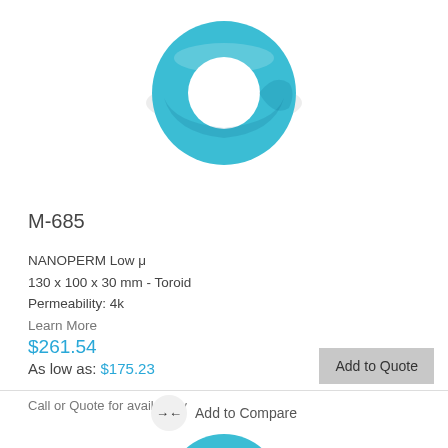[Figure (photo): Blue toroid/ring-shaped magnetic core component, viewed from above at slight angle, teal/cyan color]
M-685
NANOPERM Low μ
130 x 100 x 30 mm - Toroid
Permeability: 4k
Learn More
$261.54
As low as: $175.23
Call or Quote for availability
Add to Quote
Add to Compare
[Figure (photo): Partial view of another blue toroid/ring-shaped magnetic core component at bottom of page]